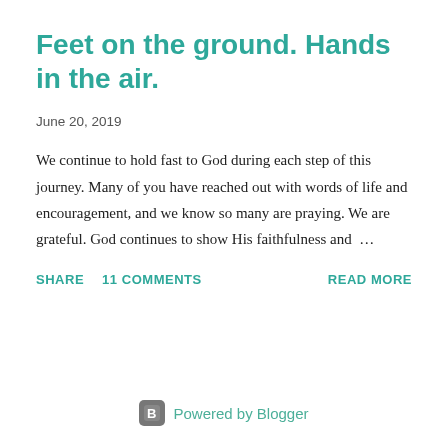Feet on the ground. Hands in the air.
June 20, 2019
We continue to hold fast to God during each step of this journey. Many of you have reached out with words of life and encouragement, and we know so many are praying. We are grateful. God continues to show His faithfulness and …
SHARE
11 COMMENTS
READ MORE
Powered by Blogger